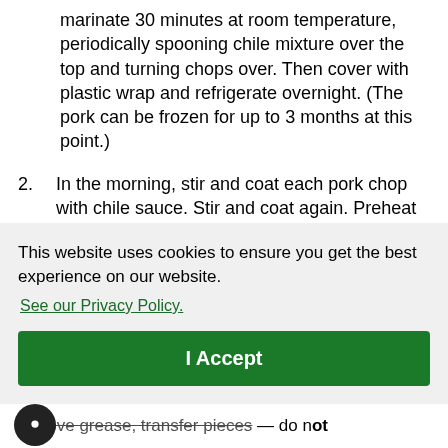marinate 30 minutes at room temperature, periodically spooning chile mixture over the top and turning chops over.  Then cover with plastic wrap and refrigerate overnight.  (The pork can be frozen for up to 3 months at this point.)
2.  In the morning, stir and coat each pork chop with chile sauce. Stir and coat again. Preheat oven to 325F (165C).  Cover pan
This website uses cookies to ensure you get the best experience on our website.
See our Privacy Policy.
I Accept
remove grease, transfer pieces — do not for the land through. Place should be at